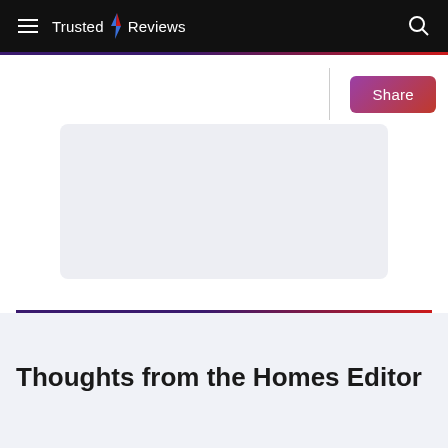Trusted Reviews
[Figure (screenshot): Light grey rectangular image placeholder with rounded corners, representing an article image]
Thoughts from the Homes Editor